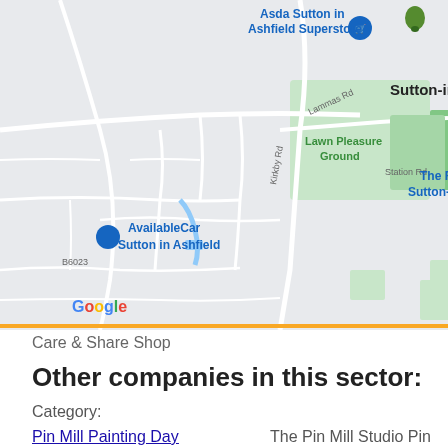[Figure (map): Google Maps screenshot showing Sutton-in-Ashfield area with markers for Asda Sutton in Ashfield Superstore, The Range Sutton-in-Ashfield, Wickes, AvailableCar Sutton in Ashfield, and Toby Carvery. Roads include Lammas Rd, B6023, Kirkby Rd, Station Rd, Penny Emma Way. Green areas include Lawn Pleasure Ground.]
Care & Share Shop
Other companies in this sector:
Category:
The Pin Mill Studio Pin Mill Road Pin Mill,
Pin Mill Painting Day